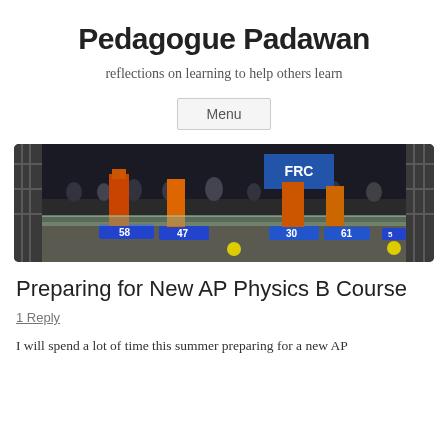Pedagogue Padawan
reflections on learning to help others learn
Menu
[Figure (photo): Robotics competition scene showing robots numbered 58, 47, 30, 61, and 53 on a competition field with scaffolding and spectators in the background.]
Preparing for New AP Physics B Course
1 Reply
I will spend a lot of time this summer preparing for a new AP